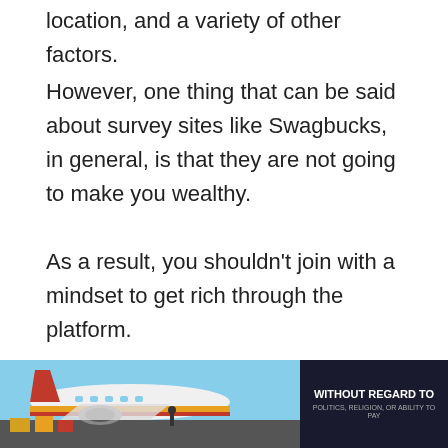location, and a variety of other factors.
However, one thing that can be said about survey sites like Swagbucks, in general, is that they are not going to make you wealthy.
As a result, you shouldn’t join with a mindset to get rich through the platform.
Swagbucks has a lot of other cool ways to earn rewards. Some of them are really simple
[Figure (photo): Advertisement banner showing an airplane being loaded with cargo, with text overlay reading WITHOUT REGARD TO on a dark background on the right side]